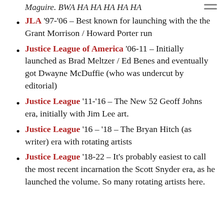Maguire. BWA HA HA HA HA HA
JLA '97-'06 – Best known for launching with the the Grant Morrison / Howard Porter run
Justice League of America '06-11 – Initially launched as Brad Meltzer / Ed Benes and eventually got Dwayne McDuffie (who was undercut by editorial)
Justice League '11-'16 – The New 52 Geoff Johns era, initially with Jim Lee art.
Justice League '16 – '18 – The Bryan Hitch (as writer) era with rotating artists
Justice League '18-22 – It's probably easiest to call the most recent incarnation the Scott Snyder era, as he launched the volume. So many rotating artists here.